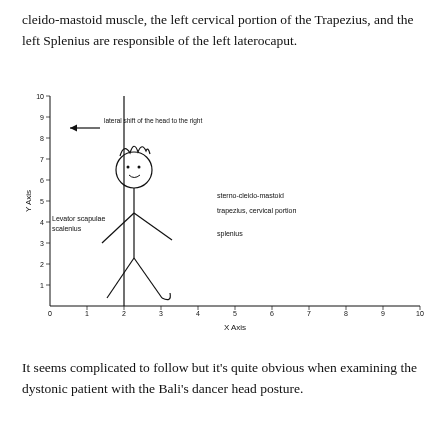cleido-mastoid muscle, the left cervical portion of the Trapezius, and the left Splenius are responsible of the left laterocaput.
[Figure (other): A hand-drawn diagram on a coordinate system (X Axis 0-10, Y Axis 0-10) showing a stick figure person with head shifted laterally to the right. Annotations include: 'lateral shift of the head to the right' with an arrow pointing left, 'sterno-cleido-mastoid', 'trapezius, cervical portion', 'splenius', 'Levator scapulae', 'scalenius'. A vertical line at x=2 and horizontal baseline at y=0.]
It seems complicated to follow but it's quite obvious when examining the dystonic patient with the Bali's dancer head posture.